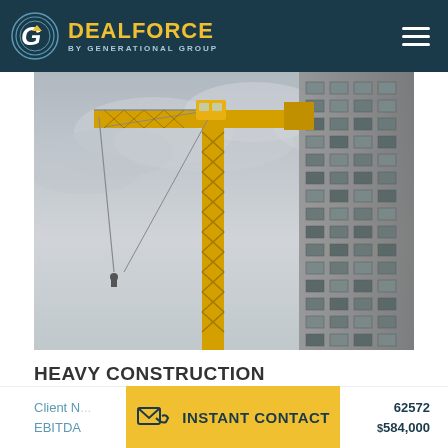DEALFORCE BY GENERATIONAL GROUP
[Figure (photo): Yellow construction tower crane against a grey cloudy sky, with a grey-toned building facade on the right side]
HEAVY CONSTRUCTION EARTHWORK CONTRACTOR
Client N... 62572
EBITDA... $584,000
INSTANT CONTACT